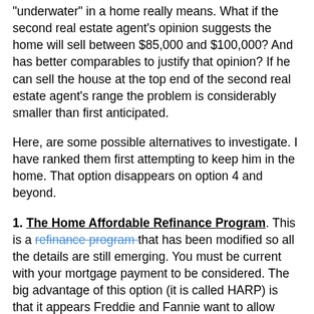underwater in a home really means. What if the second real estate agent's opinion suggests the home will sell between $85,000 and $100,000? And has better comparables to justify that opinion? If he can sell the house at the top end of the second real estate agent's range the problem is considerably smaller than first anticipated.
Here, are some possible alternatives to investigate. I have ranked them first attempting to keep him in the home. That option disappears on option 4 and beyond.
1. The Home Affordable Refinance Program. This is a refinance program that has been modified so all the details are still emerging. You must be current with your mortgage payment to be considered. The big advantage of this option (it is called HARP) is that it appears Freddie and Fannie want to allow more families to qualify so the requirements have been relaxed. News reports vary but suggest only about 900,000 people have qualified for